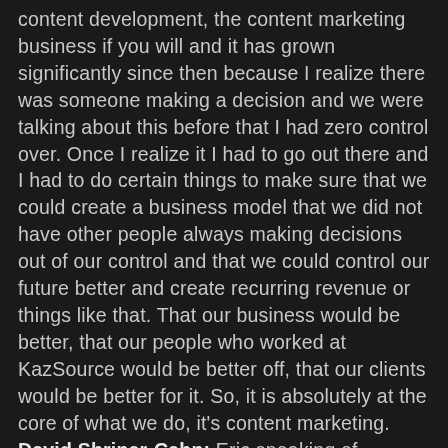content development, the content marketing business if you will and it has grown significantly since then because I realize there was someone making a decision and we were talking about this before that I had zero control over. Once I realize it I had to go out there and I had to do certain things to make sure that we could create a business model that we did not have other people always making decisions out of our control and that we could control our future better and create recurring revenue or things like that. That our business would be better, that our people who worked at KazSource would be better off, that our clients would be better for it. So, it is absolutely at the core of what we do, it's content marketing.  David Shriner-Cahn: Eric speaking of recurrent revenue